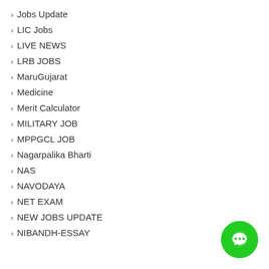› Jobs Update
› LIC Jobs
› LIVE NEWS
› LRB JOBS
› MaruGujarat
› Medicine
› Merit Calculator
› MILITARY JOB
› MPPGCL JOB
› Nagarpalika Bharti
› NAS
› NAVODAYA
› NET EXAM
› NEW JOBS UPDATE
› NIBANDH-ESSAY
[Figure (illustration): Green circular chat/messaging button with three dots icon in the bottom-right corner]